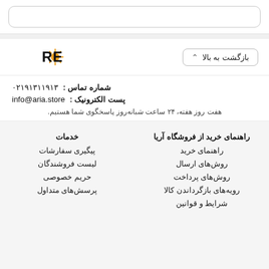(search bar)
بازگشت به بالا
[Figure (logo): ARIASTORE logo with sun/star icon in orange between ARIA and RE]
شماره تماس : ۰۲۱۹۱۳۱۱۹۱۳
پست الکترونیک : info@aria.store
هفت روز هفته، ۲۴ ساعت شبانه‌روز پاسخگوی شما هستیم.
راهنمای خرید از فروشگاه آریا
خدمات
راهنمای خرید
پیگیری سفارشات
روش‌های ارسال
لیست فروشندگان
روش‌های پرداخت
حریم خصوصی
رویه‌های بازگرداندن کالا
پرسش‌های متداول
شرایط و قوانین